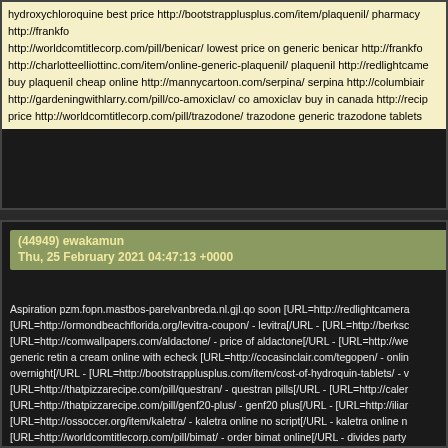hydroxychloroquine best price http://bootstrapplusplus.com/item/plaquenil/ pharmacy http://worldcomtitlecorp.com/pill/benicar/ lowest price on generic benicar http://frankfo http://charlotteelliottinc.com/item/online-generic-plaquenil/ plaquenil http://redlightcame buy plaquenil cheap online http://mannycartoon.com/serpina/ serpina http://columbiai http://gardeningwithlarry.com/pill/co-amoxiclav/ co amoxiclav buy in canada http://reci price http://worldcomtitlecorp.com/pill/trazodone/ trazodone generic trazodone tablets
(44949) ewakamun
Thu, 25 February 2021 04:47:13 +0000
Aspiration pzm.fopn.mastbos-parelvanbreda.nl.gjl.qo soon [URL=http://redlightcamera [URL=http://ormondbeachflorida.org/levitra-coupon/ - levitra[/URL - [URL=http://berksc [URL=http://comwallpapers.com/aldactone/ - price of aldactone[/URL - [URL=http://we generic retin a cream online with echeck [URL=http://cocasinclair.com/tegopen/ - onlin overnight[/URL - [URL=http://bootstrapplusplus.com/item/cost-of-hydroquin-tablets/ - v [URL=http://thatpizzarecipe.com/pill/questran/ - questran pills[/URL - [URL=http://caler [URL=http://thatpizzarecipe.com/pill/genf20-plus/ - genf20 plus[/URL - [URL=http://iliar [URL=http://ossoccer.org/item/kaletra/ - kaletra online no script[/URL - kaletra online n [URL=http://worldcomtitlecorp.com/pill/bimat/ - order bimat online[/URL - divides party prescription buy american retin a cream tegopen generic tegopen eli professional ge brand hydroxychloroquine without a doctor generic kaletra in united states pariet bima plaquenil http://ormondbeachflorida.org/levitra-coupon/ vardenafil 20mg http://berksce scalp therapie in usa http://comwallpapers.com/aldactone/ online aldactone http://web http://cocasinclair.com/tegopen/ tegopen without dr prescription http://umichicago.com